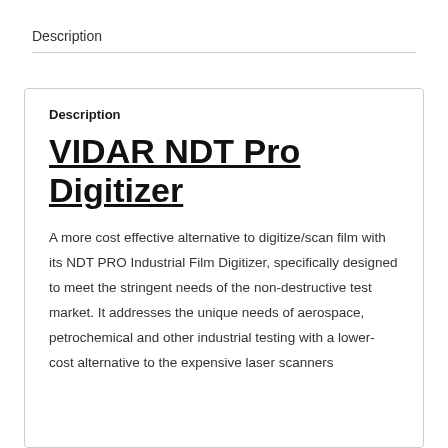Description
Description
VIDAR NDT Pro Digitizer
A more cost effective alternative to digitize/scan film with its NDT PRO Industrial Film Digitizer, specifically designed to meet the stringent needs of the non-destructive test market. It addresses the unique needs of aerospace, petrochemical and other industrial testing with a lower-cost alternative to the expensive laser scanners